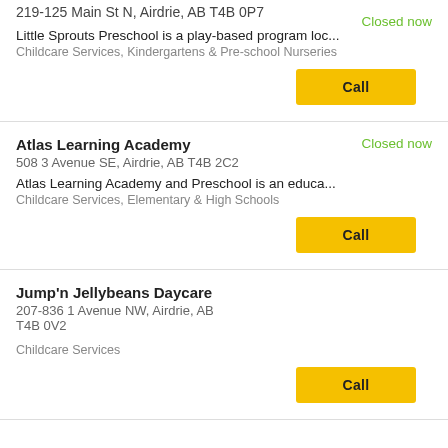219-125 Main St N, Airdrie, AB T4B 0P7
Closed now
Little Sprouts Preschool is a play-based program loc...
Childcare Services, Kindergartens & Pre-school Nurseries
Call
Atlas Learning Academy
Closed now
508 3 Avenue SE, Airdrie, AB T4B 2C2
Atlas Learning Academy and Preschool is an educa...
Childcare Services, Elementary & High Schools
Call
Jump'n Jellybeans Daycare
207-836 1 Avenue NW, Airdrie, AB
T4B 0V2
Childcare Services
Call